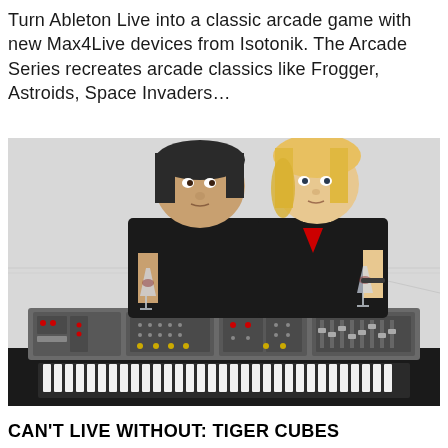Turn Ableton Live into a classic arcade game with new Max4Live devices from Isotonik. The Arcade Series recreates arcade classics like Frogger, Astroids, Space Invaders...
[Figure (photo): Two people (a dark-haired man and a blonde woman) wearing black t-shirts, standing behind a vintage synthesizer/keyboard equipment, each holding a wine glass. The background is a white wall.]
CAN'T LIVE WITHOUT: TIGER CUBES